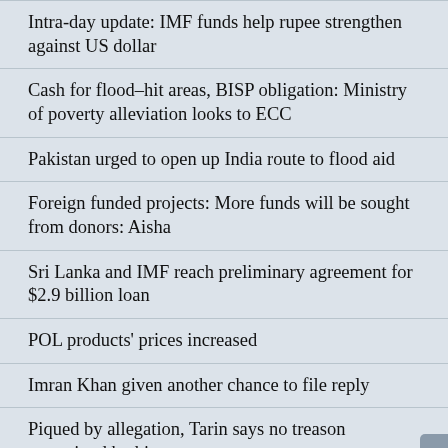Intra-day update: IMF funds help rupee strengthen against US dollar
Cash for flood-hit areas, BISP obligation: Ministry of poverty alleviation looks to ECC
Pakistan urged to open up India route to flood aid
Foreign funded projects: More funds will be sought from donors: Aisha
Sri Lanka and IMF reach preliminary agreement for $2.9 billion loan
POL products' prices increased
Imran Khan given another chance to file reply
Piqued by allegation, Tarin says no treason committed by him
'Justice must be seen to be done': Marriyum